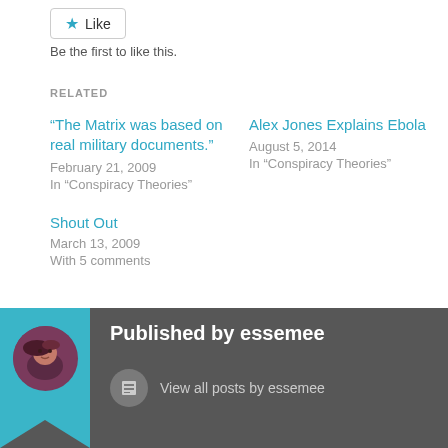Like
Be the first to like this.
RELATED
"The Matrix was based on real military documents."
February 21, 2009
In "Conspiracy Theories"
Alex Jones Explains Ebola
August 5, 2014
In "Conspiracy Theories"
Shout Out
March 13, 2009
With 5 comments
Published by essemee
View all posts by essemee